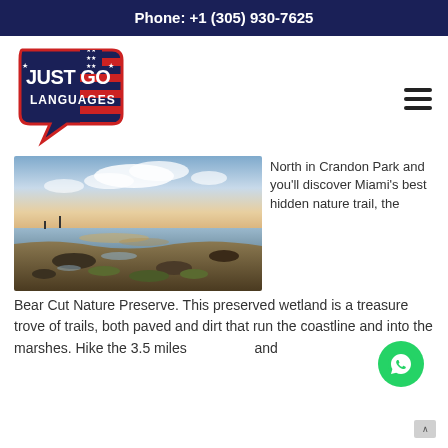Phone: +1 (305) 930-7625
[Figure (logo): Just Go Languages logo with American flag design]
[Figure (photo): Coastal wetland landscape at sunset with rocky shore, calm water reflecting clouds and sky]
North in Crandon Park and you'll discover Miami's best hidden nature trail, the Bear Cut Nature Preserve. This preserved wetland is a treasure trove of trails, both paved and dirt that run the coastline and into the marshes. Hike the 3.5 miles and